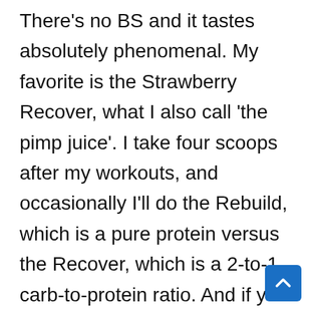There's no BS and it tastes absolutely phenomenal. My favorite is the Strawberry Recover, what I also call 'the pimp juice'. I take four scoops after my workouts, and occasionally I'll do the Rebuild, which is a pure protein versus the Recover, which is a 2-to-1 carb-to-protein ratio. And if you want some educational material around supplementation and nutrition overall, I recorded some short videos with Marcus Filly that you can get exclusively at theairbornemind.com, so check that out. And if you're in the market for supplements, head over to reviverx.com